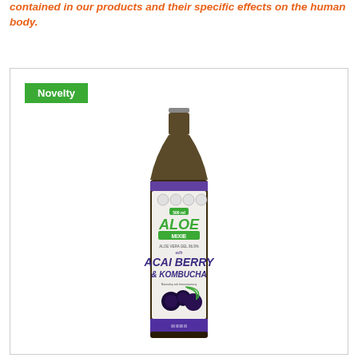contained in our products and their specific effects on the human body.
[Figure (photo): A bottle of Aloe Mixie Aloe Vera Gel with Acai Berry & Kombucha product, 500ml, with a dark label featuring purple and green colors, showing acai berries on the label. A green 'Novelty' badge appears in the top-left corner of the product image box.]